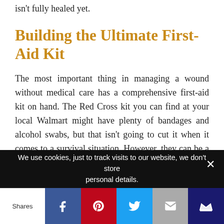isn't fully healed yet.
Building the Ultimate First-Aid Kit
The most important thing in managing a wound without medical care has a comprehensive first-aid kit on hand. The Red Cross kit you can find at your local Walmart might have plenty of bandages and alcohol swabs, but that isn't going to cut it when it comes to a survival situation. However, they can be a great
We use cookies, just to track visits to our website, we don't store personal details.
Shares